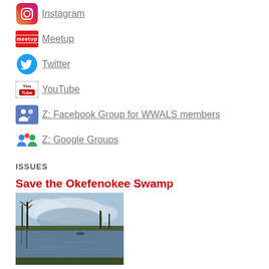Instagram
Meetup
Twitter
YouTube
Z: Facebook Group for WWALS members
Z: Google Groups
ISSUES
Save the Okefenokee Swamp
[Figure (photo): Photo of Okefenokee Swamp showing water, bare trees, and cloudy sky]
Object to a titanium strip mine proposed far too near the Swamp.